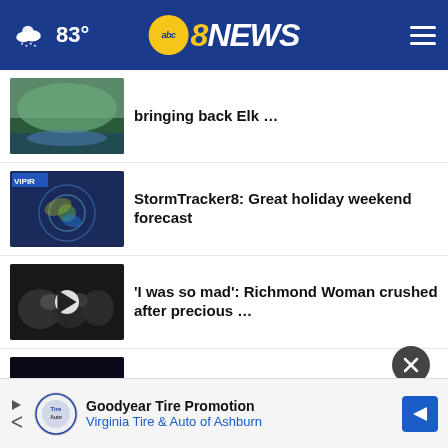83° ABC 8NEWS
bringing back Elk …
StormTracker8: Great holiday weekend forecast
'I was so mad': Richmond Woman crushed after precious …
I-64 East open in Henrico after crash
More Stories ›
Goodyear Tire Promotion
Virginia Tire & Auto of Ashburn